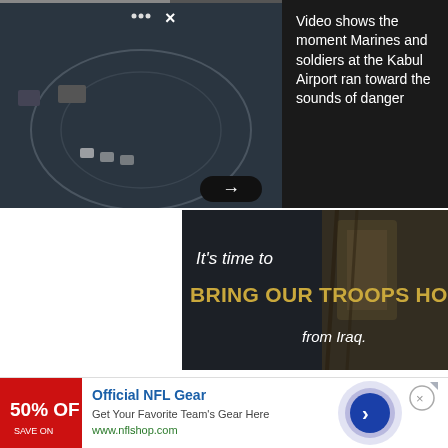[Figure (screenshot): Aerial/night-vision video thumbnail showing military equipment, with overlaid controls (dots menu, X close button, right arrow navigation button)]
Video shows the moment Marines and soldiers at the Kabul Airport ran toward the sounds of danger
[Figure (photo): Advertisement banner with dark military background showing text: It's time to BRING OUR TROOPS HOME from Iraq.]
Employer: Executive Associate at Rock Ventures, LLC
[Figure (infographic): Advertisement bar: Official NFL Gear - Get Your Favorite Team's Gear Here - www.nflshop.com - with red 50% OFF badge and blue circular arrow button]